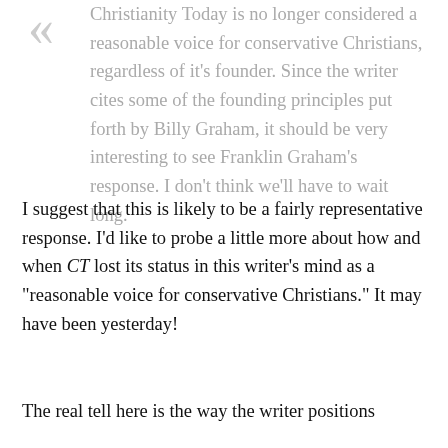Christianity Today is no longer considered a reasonable voice for conservative Christians, regardless of it's founder. Since the writer cites some of the founding principles put forth by Billy Graham, it should be very interesting to see Franklin Graham's response. I don't think we'll have to wait long.
I suggest that this is likely to be a fairly representative response. I'd like to probe a little more about how and when CT lost its status in this writer's mind as a "reasonable voice for conservative Christians." It may have been yesterday!
The real tell here is the way the writer positions